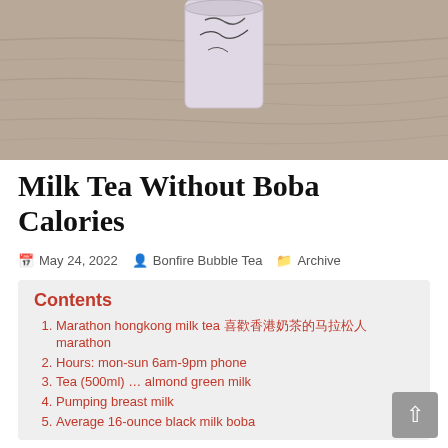[Figure (photo): A cup of milk tea on a wooden surface, viewed from above. The cup is light purple/white colored with dark decorative markings, sitting on a wooden table.]
Milk Tea Without Boba Calories
May 24, 2022  Bonfire Bubble Tea  Archive
Contents
Marathon hongkong milk tea 喝出马拉松精神香港奶茶 marathon
Hours: mon-sun 6am-9pm phone
Tea (500ml) … almond green milk
Pumping breast milk
Average 16-ounce black milk boba